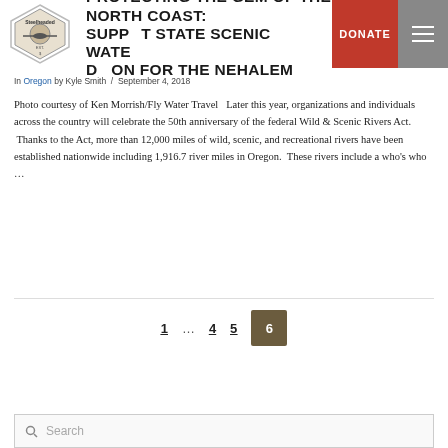Steelheaded [logo with navigation bar including DONATE button]
PROTECTING THE GEM OF THE NORTH COAST: SUPPORT STATE SCENIC WATERWAY DESIGNATION FOR THE NEHALEM
In Oregon by Kyle Smith / September 4, 2018
Photo courtesy of Ken Morrish/Fly Water Travel   Later this year, organizations and individuals across the country will celebrate the 50th anniversary of the federal Wild & Scenic Rivers Act.  Thanks to the Act, more than 12,000 miles of wild, scenic, and recreational rivers have been established nationwide including 1,916.7 river miles in Oregon.  These rivers include a who's who …
1 … 4 5 6
Search